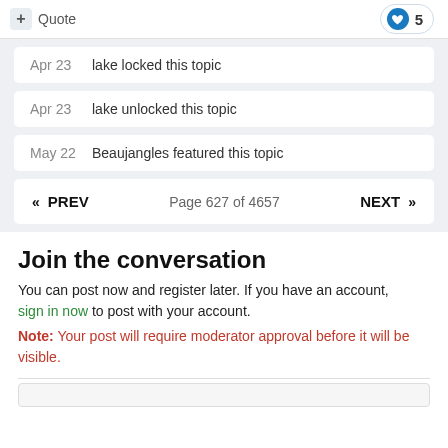+ Quote   ♥ 5
Apr 23   lake locked this topic
Apr 23   lake unlocked this topic
May 22   Beaujangles featured this topic
« PREV   Page 627 of 4657   NEXT »
Join the conversation
You can post now and register later. If you have an account, sign in now to post with your account.
Note: Your post will require moderator approval before it will be visible.